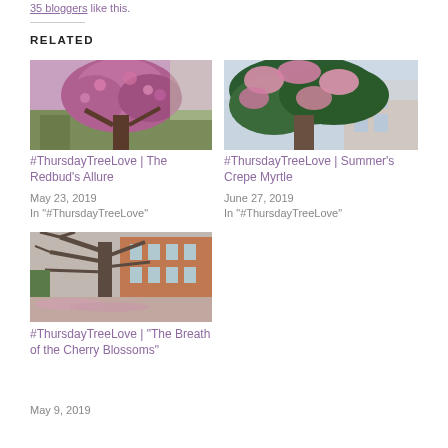35 bloggers like this.
RELATED
[Figure (photo): A tree with pink/purple blossoms against a suburban backdrop (Redbud tree)]
#ThursdayTreeLove | The Redbud's Allure
May 23, 2019
In "#ThursdayTreeLove"
[Figure (photo): A tree with large pink flower clusters (Crepe Myrtle) against a building]
#ThursdayTreeLove | Summer's Crepe Myrtle
June 27, 2019
In "#ThursdayTreeLove"
[Figure (photo): A bare/leafless tree along a brick building pathway covered in pink petals (Cherry Blossoms)]
#ThursdayTreeLove | "The Breath of the Cherry Blossoms"
May 9, 2019